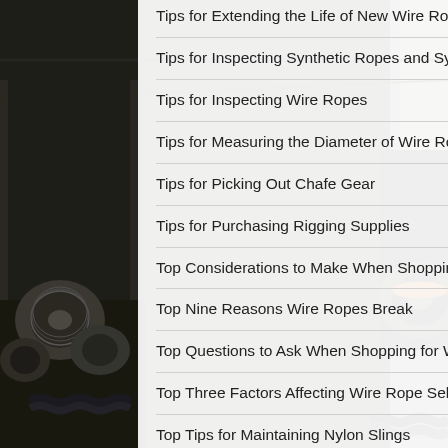[Figure (photo): Industrial warehouse background showing large spools of wire rope, chains, and rigging equipment on warehouse floor, dark industrial setting]
Tips for Extending the Life of New Wire Ropes
Tips for Inspecting Synthetic Ropes and Synthetic Slings
Tips for Inspecting Wire Ropes
Tips for Measuring the Diameter of Wire Rope
Tips for Picking Out Chafe Gear
Tips for Purchasing Rigging Supplies
Top Considerations to Make When Shopping for Aircraft Cable
Top Nine Reasons Wire Ropes Break
Top Questions to Ask When Shopping for Wire Ropes
Top Three Factors Affecting Wire Rope Selections
Top Tips for Maintaining Nylon Slings